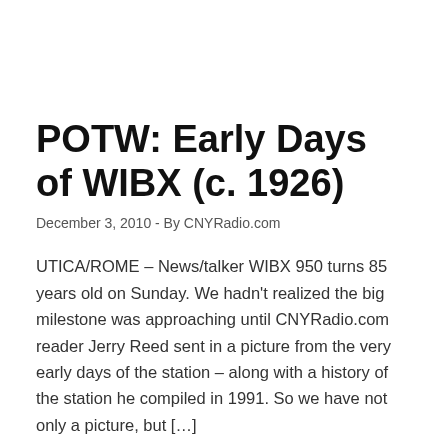POTW: Early Days of WIBX (c. 1926)
December 3, 2010 - By CNYRadio.com
UTICA/ROME – News/talker WIBX 950 turns 85 years old on Sunday.  We hadn't realized the big milestone was approaching until CNYRadio.com reader Jerry Reed sent in a picture from the very early days of the station – along with a history of the station he compiled in 1991.  So we have not only a picture, but […]